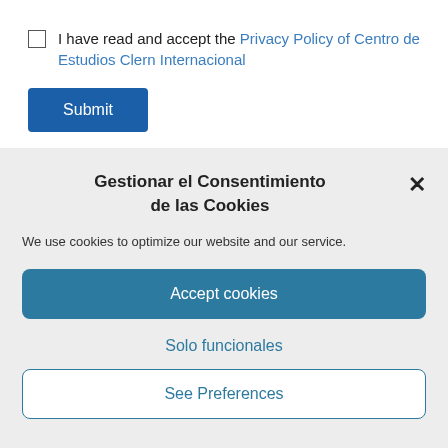I have read and accept the Privacy Policy of Centro de Estudios Clern Internacional
Submit
Gestionar el Consentimiento de las Cookies
We use cookies to optimize our website and our service.
Accept cookies
Solo funcionales
See Preferences